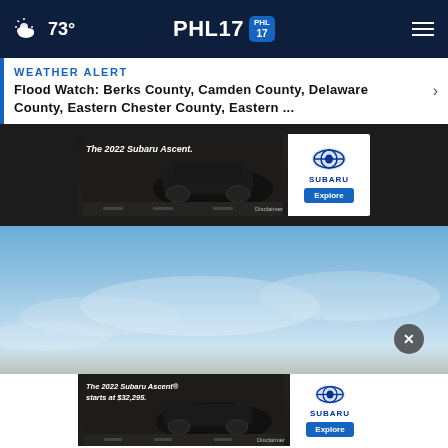PHL17 — 73° weather icon, hamburger menu
WEATHER ALERT
Flood Watch: Berks County, Camden County, Delaware County, Eastern Chester County, Eastern ...
[Figure (screenshot): Advertisement for The 2022 Subaru Ascent with car image on left and Subaru logo with Explore button on right]
[Figure (photo): Sky background photo with blue sky and light clouds, close button overlay]
[Figure (screenshot): Advertisement for The 2022 Subaru Ascent starts at $32,295 with car image on left and Subaru logo with Explore button on right]